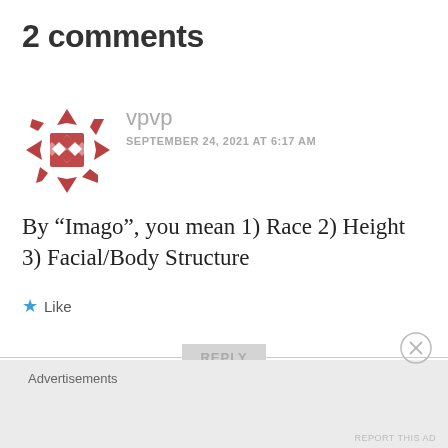2 comments
[Figure (illustration): Red geometric snowflake/pinwheel avatar icon with diamond shapes in the center and arrow-like points around the edges]
vpvp
SEPTEMBER 24, 2021 AT 6:17 AM
By “Imago”, you mean 1) Race 2) Height 3) Facial/Body Structure
Like
REPLY
Advertisements